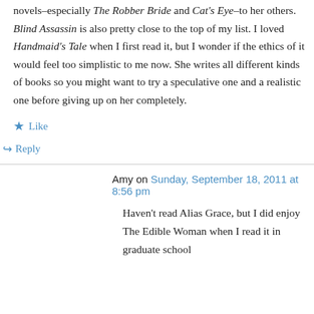novels–especially The Robber Bride and Cat's Eye–to her others. Blind Assassin is also pretty close to the top of my list. I loved Handmaid's Tale when I first read it, but I wonder if the ethics of it would feel too simplistic to me now. She writes all different kinds of books so you might want to try a speculative one and a realistic one before giving up on her completely.
★ Like
↪ Reply
Amy on Sunday, September 18, 2011 at 8:56 pm
Haven't read Alias Grace, but I did enjoy The Edible Woman when I read it in graduate school